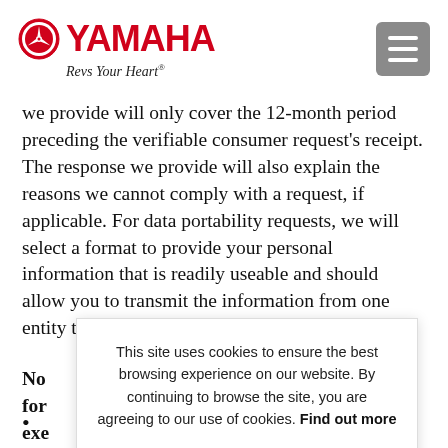[Figure (logo): Yamaha logo with emblem and 'Revs Your Heart' tagline, plus hamburger menu button in top right]
we provide will only cover the 12-month period preceding the verifiable consumer request's receipt. The response we provide will also explain the reasons we cannot comply with a request, if applicable. For data portability requests, we will select a format to provide your personal information that is readily useable and should allow you to transmit the information from one entity to another entity without hindrance.
No for exe e CCR
(bullet item, partially obscured by cookie overlay)
(bullet item, partially obscured by cookie overlay — ends with: ...es,)
This site uses cookies to ensure the best browsing experience on our website. By continuing to browse the site, you are agreeing to our use of cookies. Find out more
GOT IT